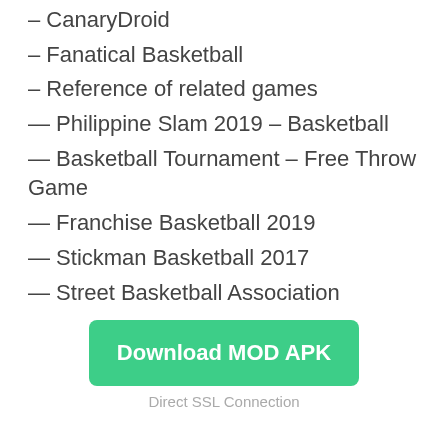– CanaryDroid
– Fanatical Basketball
– Reference of related games
— Philippine Slam 2019 – Basketball
— Basketball Tournament – Free Throw Game
— Franchise Basketball 2019
— Stickman Basketball 2017
— Street Basketball Association
[Figure (other): Green Download MOD APK button with Direct SSL Connection text below]
Direct SSL Connection